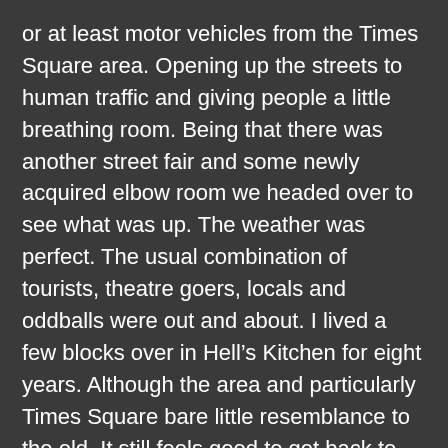or at least motor vehicles from the Times Square area. Opening up the streets to human traffic and giving people a little breathing room. Being that there was another street fair and some newly acquired elbow room we headed over to see what was up. The weather was perfect. The usual combination of tourists, theatre goers, locals and oddballs were out and about. I lived a few blocks over in Hell's Kitchen for eight years. Although the area and particularly Times Square bare little resemblance to the old. It still feels good to get back to the West Side. The Navy was in town. The Naked Cowboy was well “almost naked”  We  made our way up to Central Park and over to Lincoln Center before we headed back. As always hunger found it’s way to our belly’s and we decided on “the Carnegie Deli”.  In the past I had always seen these classic deli’s on the food network and featured in various shows but thought “who could eat that much?” Seriously, how can anyone wrap their mouth around a sandwich that huge and